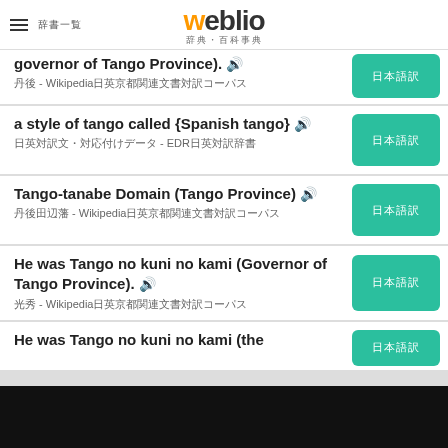weblio 辞典・百科事典
governor of Tango Province). [speaker] 丹後 - Wikipedia日英京都関連文書対訳コーパス
a style of tango called {Spanish tango} [speaker] 日英対訳文・対応付けデータ - EDR日英対訳辞書
Tango-tanabe Domain (Tango Province) [speaker] 丹後田辺藩 - Wikipedia日英京都関連文書対訳コーパス
He was Tango no kuni no kami (Governor of Tango Province). [speaker] 光秀 - Wikipedia日英京都関連文書対訳コーパス
He was Tango no kuni no kami (the